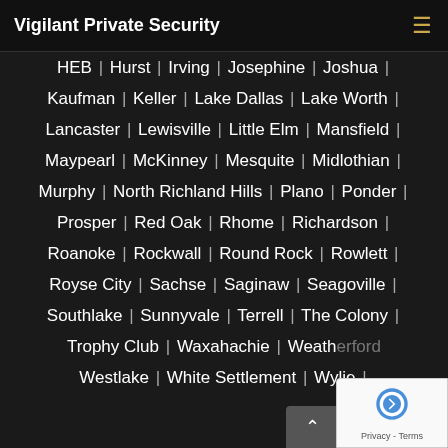Vigilant Private Security
HEB | Hurst | Irving | Josephine | Joshua |
Kaufman | Keller | Lake Dallas | Lake Worth |
Lancaster | Lewisville | Little Elm | Mansfield |
Maypearl | McKinney | Mesquite | Midlothian |
Murphy | North Richland Hills | Plano | Ponder |
Prosper | Red Oak | Rhome | Richardson |
Roanoke | Rockwall | Round Rock | Rowlett |
Royse City | Sachse | Saginaw | Seagoville |
Southlake | Sunnyvale | Terrell | The Colony |
Trophy Club | Waxahachie | Weatherford |
Westlake | White Settlement | Wylie |